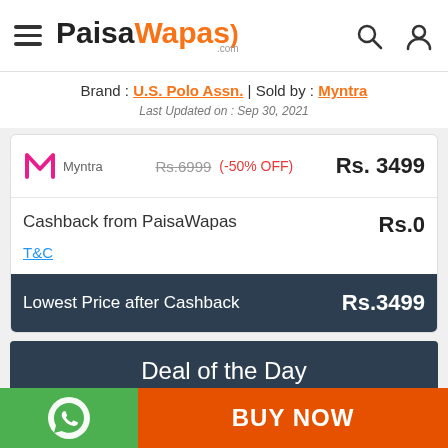PaisaWapas.com
Brand : U.S. Polo Assn. | Sold by : Myntra
Last Updated on : Sep 30, 2021
| Store | Original Price | Discount | Final Price |
| --- | --- | --- | --- |
| Myntra | Rs.6999 | (-50% OFF) | Rs. 3499 |
| Cashback from PaisaWapas |  |  | Rs.0 |
| Lowest Price after Cashback |  |  | Rs.3499 |
Deal of the Day
[Figure (photo): Deal of the Day product image — green foliage/nature background]
BUY NOW